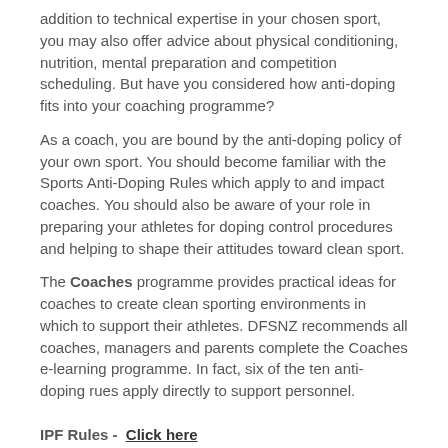addition to technical expertise in your chosen sport, you may also offer advice about physical conditioning, nutrition, mental preparation and competition scheduling. But have you considered how anti-doping fits into your coaching programme?
As a coach, you are bound by the anti-doping policy of your own sport. You should become familiar with the Sports Anti-Doping Rules which apply to and impact coaches. You should also be aware of your role in preparing your athletes for doping control procedures and helping to shape their attitudes toward clean sport.
The Coaches programme provides practical ideas for coaches to create clean sporting environments in which to support their athletes. DFSNZ recommends all coaches, managers and parents complete the Coaches e-learning programme. In fact, six of the ten anti-doping rues apply directly to support personnel.
IPF Rules -  Click here
IPF Approved Gear List -  Click here
IPF Codes and Guidance -  Click here